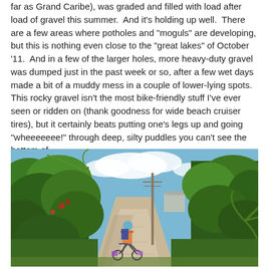far as Grand Caribe), was graded and filled with load after load of gravel this summer.  And it's holding up well.  There are a few areas where potholes and "moguls" are developing, but this is nothing even close to the "great lakes" of October '11.  And in a few of the larger holes, more heavy-duty gravel was dumped just in the past week or so, after a few wet days made a bit of a muddy mess in a couple of lower-lying spots.  This rocky gravel isn't the most bike-friendly stuff I've ever seen or ridden on (thank goodness for wide beach cruiser tires), but it certainly beats putting one's legs up and going "wheeeeeee!" through deep, silty puddles you can't see the bottom of.
[Figure (photo): A cyclist with a backpack and loaded bike riding along a sandy gravel path lined with dense tropical green vegetation and palm trees, under a blue sky with clouds. A utility pole is visible in the background.]